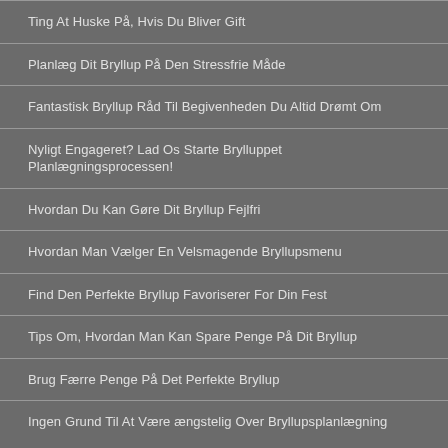Ting At Huske På, Hvis Du Bliver Gift
Planlæg Dit Bryllup På Den Stressfrie Måde
Fantastisk Bryllup Råd Til Begivenheden Du Altid Drømt Om
Nyligt Engageret? Lad Os Starte Brylluppet Planlægningsprocessen!
Hvordan Du Kan Gøre Dit Bryllup Fejlfri
Hvordan Man Vælger En Velsmagende Bryllupsmenu
Find Den Perfekte Bryllup Favoriserer For Din Fest
Tips Om, Hvordan Man Kan Spare Penge På Dit Bryllup
Brug Færre Penge På Det Perfekte Bryllup
Ingen Grund Til At Være ængstelig Over Bryllupsplanlægning